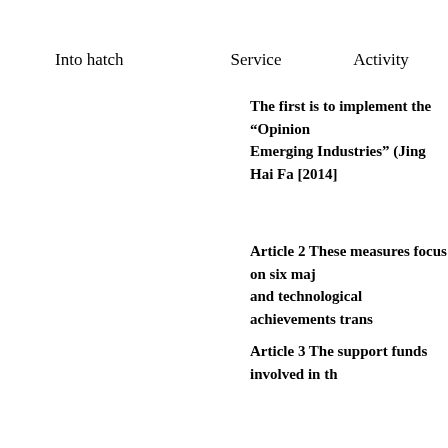Into hatch
Service
Activity
The first is to implement the “Opinion on Emerging Industries” (Jing Hai Fa [2014]
Article 2 These measures focus on six maj and technological achievements trans
Article 3 The support funds involved in th